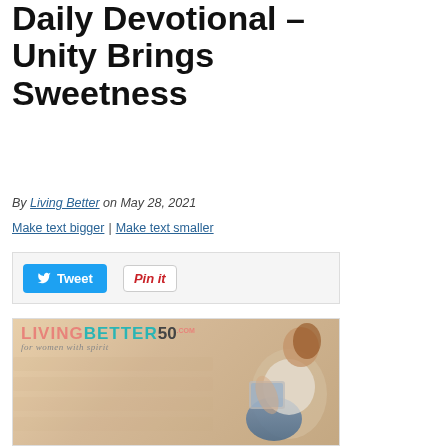Daily Devotional – Unity Brings Sweetness
By Living Better on May 28, 2021
Make text bigger | Make text smaller
[Figure (other): Social sharing buttons: Tweet button (blue, Twitter bird icon) and Pin it button (white with red text and Pinterest logo border)]
[Figure (photo): LivingBetter50.com website banner/logo with tagline 'for women with spirit' and a woman sitting on a couch reading a tablet, warm beige background with blurred panels]